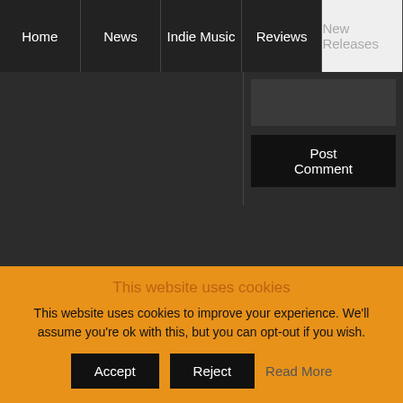Home | News | Indie Music | Reviews | New Releases
Post Comment
Tweets
Sydney Hansen Releases Her Single 'Getting Somewhere Slow' - https://t.co/Yuz4AUh9C4 https://t.co/df3cqZ6A9G 6 hours ago
Twitter Profile
Jamsphere (Jamsphere
This website uses cookies
This website uses cookies to improve your experience. We'll assume you're ok with this, but you can opt-out if you wish.
Accept | Reject | Read More